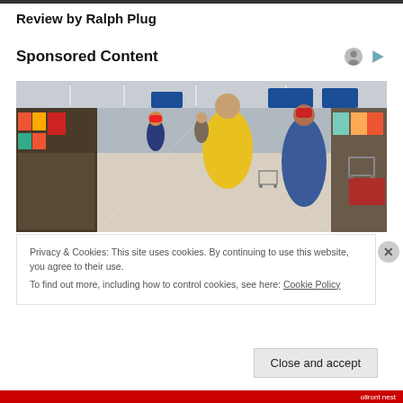Review by Ralph Plug
Sponsored Content
[Figure (photo): Interior of a busy superstore/Walmart with shoppers pushing carts through wide aisles lined with merchandise. Several shoppers wearing winter coats and hats are visible in the foreground.]
Privacy & Cookies: This site uses cookies. By continuing to use this website, you agree to their use.
To find out more, including how to control cookies, see here: Cookie Policy
Close and accept